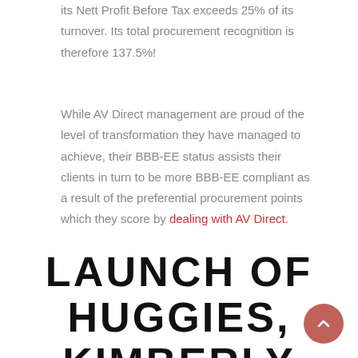its Nett Profit Before Tax exceeds 25% of its turnover. Its total procurement recognition is therefore 137.5%!
While AV Direct management are proud of the level of transformation they have managed to achieve, their BBB-EE status assists their clients in turn to be more BBB-EE compliant as a result of the preferential procurement points which they score by dealing with AV Direct.
LAUNCH OF HUGGIES, KIMBERLY